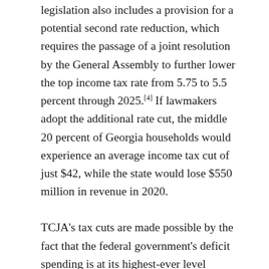legislation also includes a provision for a potential second rate reduction, which requires the passage of a joint resolution by the General Assembly to further lower the top income tax rate from 5.75 to 5.5 percent through 2025.[4] If lawmakers adopt the additional rate cut, the middle 20 percent of Georgia households would experience an average income tax cut of just $42, while the state would lose $550 million in revenue in 2020.
TCJA's tax cuts are made possible by the fact that the federal government's deficit spending is at its highest-ever level outside of the Great Recession.[5] Unlike the federal government, the state of Georgia is required, by its constitution, to balance its budget each year. If a further income tax rate cut of 0.25